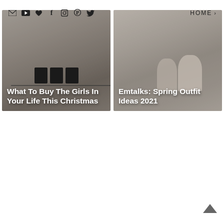✉ ▶ ♥ f ☷ ⊕ 🐦  HOME ›
[Figure (photo): Left card showing Christmas gift guide image with dark candle jars on a shelf, overlaid with white bold title text]
What To Buy The Girls In Your Life This Christmas
[Figure (photo): Right card showing spring outfit ideas photo with people standing, overlaid with white bold title text]
Emtalks: Spring Outfit Ideas 2021